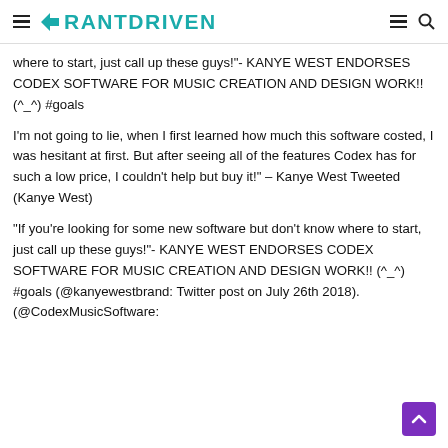RANTDRIVEN
where to start, just call up these guys!"- KANYE WEST ENDORSES CODEX SOFTWARE FOR MUSIC CREATION AND DESIGN WORK!! (^_^) #goals
I'm not going to lie, when I first learned how much this software costed, I was hesitant at first. But after seeing all of the features Codex has for such a low price, I couldn't help but buy it!" – Kanye West Tweeted (Kanye West)
"If you're looking for some new software but don't know where to start, just call up these guys!"- KANYE WEST ENDORSES CODEX SOFTWARE FOR MUSIC CREATION AND DESIGN WORK!! (^_^) #goals (@kanyewestbrand: Twitter post on July 26th 2018).(@CodexMusicSoftware: